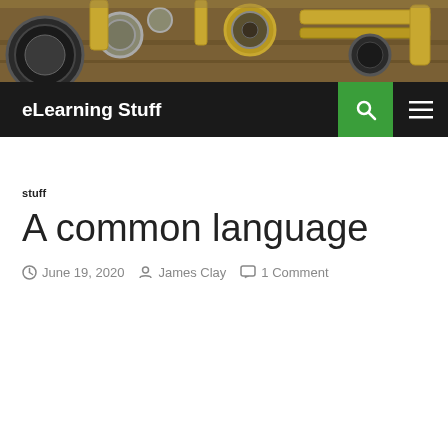[Figure (photo): Header image showing brass scientific/optical instruments on a wooden surface]
eLearning Stuff
stuff
A common language
June 19, 2020  James Clay  1 Comment